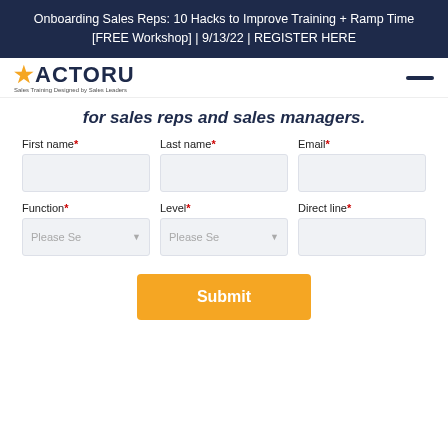Onboarding Sales Reps: 10 Hacks to Improve Training + Ramp Time [FREE Workshop] | 9/13/22 | REGISTER HERE
[Figure (logo): FACTORU logo with star icon and tagline 'Sales Training Designed by Sales Leaders']
for sales reps and sales managers.
First name* Last name* Email* Function* Level* Direct line*
Submit